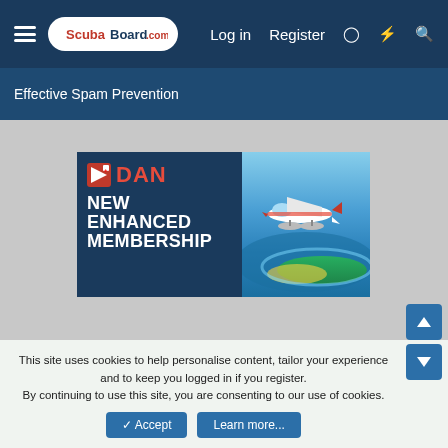ScubaBoard.com — Log in | Register
Effective Spam Prevention
[Figure (screenshot): DAN advertisement showing 'NEW ENHANCED MEMBERSHIP' text on a dark blue background with a seaplane flying over tropical island waters on the right side]
This site uses cookies to help personalise content, tailor your experience and to keep you logged in if you register. By continuing to use this site, you are consenting to our use of cookies.